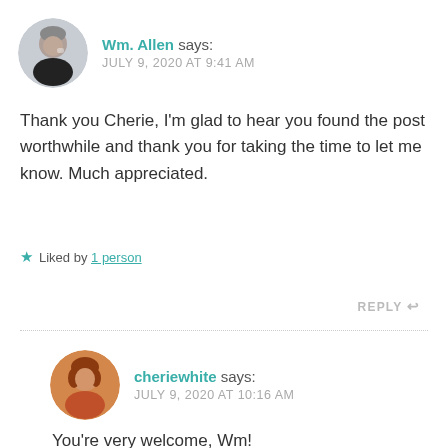[Figure (photo): Circular avatar photo of Wm. Allen, a person in a dark shirt]
Wm. Allen says:
JULY 9, 2020 AT 9:41 AM
Thank you Cherie, I'm glad to hear you found the post worthwhile and thank you for taking the time to let me know. Much appreciated.
Liked by 1 person
REPLY
[Figure (photo): Circular avatar photo of cheriewhite, a person with red/auburn hair]
cheriewhite says:
JULY 9, 2020 AT 10:16 AM
You're very welcome, Wm!